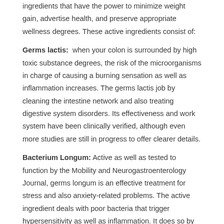ingredients that have the power to minimize weight gain, advertise health, and preserve appropriate wellness degrees. These active ingredients consist of:
Germs lactis: when your colon is surrounded by high toxic substance degrees, the risk of the microorganisms in charge of causing a burning sensation as well as inflammation increases. The germs lactis job by cleaning the intestine network and also treating digestive system disorders. Its effectiveness and work system have been clinically verified, although even more studies are still in progress to offer clearer details.
Bacterium Longum: Active as well as tested to function by the Mobility and Neurogastroenterology Journal, germs longum is an effective treatment for stress and also anxiety-related problems. The active ingredient deals with poor bacteria that trigger hypersensitivity as well as inflammation. It does so by advertising much healthier gut health and wellness.